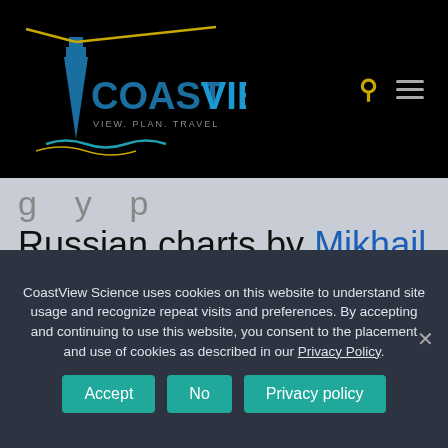[Figure (logo): CoastView logo with lighthouse graphic and text 'COASTVIEW VIEW. PLAN. TRAVEL' on black background, with search and menu icons top right]
Russian charts by Mikhail D. Tebenkov, a hydrographer and vice-admiral of the Imperial Russian Navy. In the 1940s, a road causeway was built across Coal Bay that
CoastView Science uses cookies on this website to understand site usage and recognize repeat visits and preferences. By accepting and continuing to use this website, you consent to the placement and use of cookies as described in our Privacy Policy.
Accept | No | Privacy policy